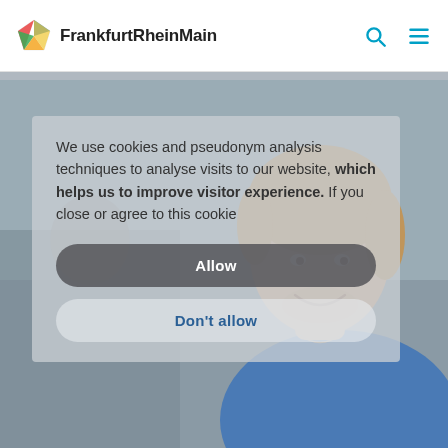[Figure (logo): FrankfurtRheinMain logo: colorful pentagon icon followed by the text FrankfurtRheinMain]
[Figure (photo): Background photo of a young man with blonde hair wearing a blue shirt, smiling, with a blurred office background. A cookie consent overlay is displayed on top.]
We use cookies and pseudonym analysis techniques to analyse visits to our website, which helps us to improve visitor experience. If you close or agree to this cookie
Allow
Don't allow